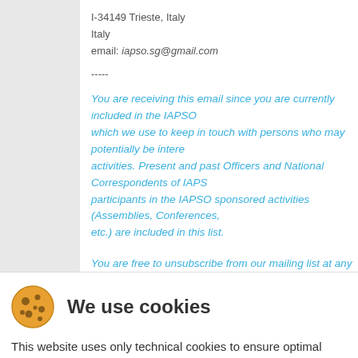I-34149 Trieste, Italy
Italy
email: iapso.sg@gmail.com
-----
You are receiving this email since you are currently included in the IAPSO mailing list, which we use to keep in touch with persons who may potentially be interested in our activities. Present and past Officers and National Correspondents of IAPSO, as well as participants in the IAPSO sponsored activities (Assemblies, Conferences, Workshops, etc.) are included in this list.
You are free to unsubscribe from our mailing list at any time, if you wish, please click the "Unsubscribe" link at the bottom of this and any e-mail you receive from us.
We use cookies
This website uses only technical cookies to ensure optimal navigation. See the cookie policy for more information.
Continue browsing
More information